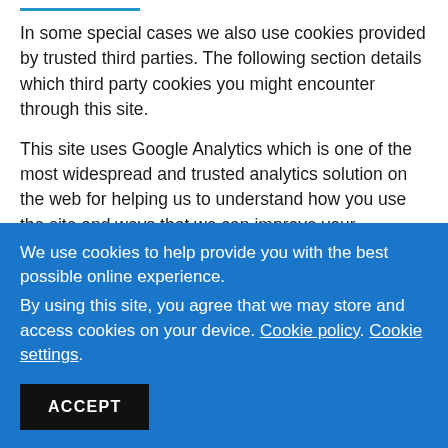In some special cases we also use cookies provided by trusted third parties. The following section details which third party cookies you might encounter through this site.
This site uses Google Analytics which is one of the most widespread and trusted analytics solution on the web for helping us to understand how you use the site and ways that we can improve your experience. These cookies may track things such as how long you spend on the site and the pages
We use cookies to help provide you with the best possible online experience.
By using this site, you agree that we may store and access cookies on your device. Cookie policy. Cookie settings.
ACCEPT